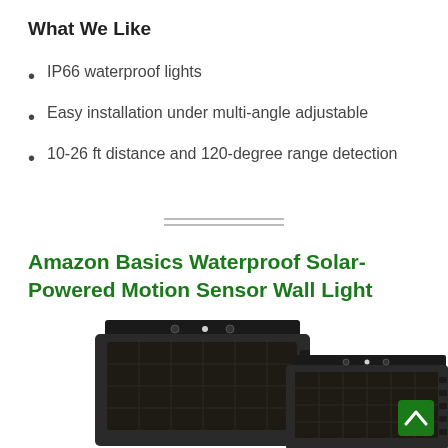What We Like
IP66 waterproof lights
Easy installation under multi-angle adjustable
10-26 ft distance and 120-degree range detection
Amazon Basics Waterproof Solar-Powered Motion Sensor Wall Light
[Figure (photo): Two Amazon Basics solar-powered motion sensor wall lights showing solar panels, photographed from above at an angle against a white background. A green back-to-top arrow button appears in the bottom-right corner.]